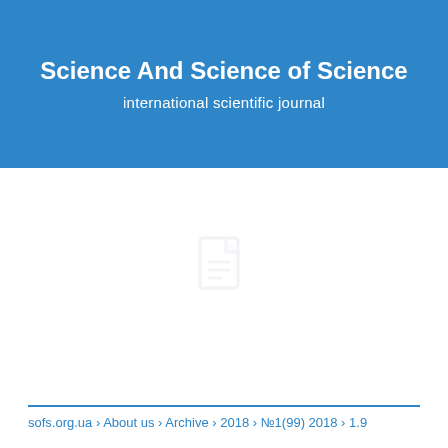Science And Science of Science
international scientific journal
[Figure (other): Faint document/page icon watermark in the center of the white area below the header]
sofs.org.ua › About us › Archive › 2018 › №1(99) 2018 › 1.9